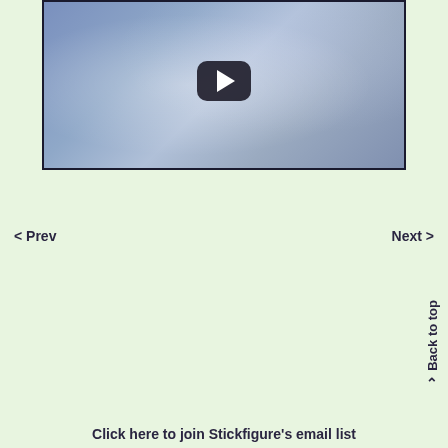[Figure (screenshot): A video thumbnail showing a blueish-purple abstract background with light reflections, featuring a YouTube-style play button (dark rounded rectangle with white triangle) centered on the image.]
< Prev
Next >
Back to top >
Click here to join Stickfigure's email list